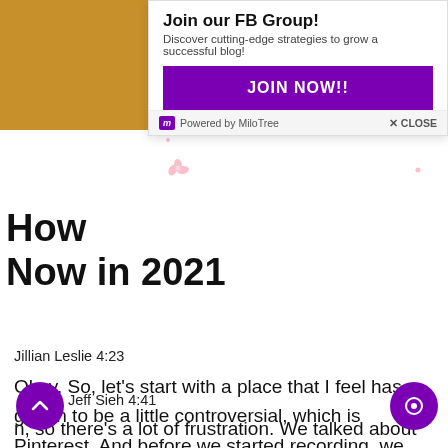[Figure (screenshot): Gold/amber colored bar in the top-left corner of the page]
[Figure (infographic): Popup overlay: 'Join our FB Group!' with subtitle 'Discover cutting-edge strategies to grow a successful blog!', a purple JOIN NOW!! button, and a footer with MiloTree branding and CLOSE button. Pink cherry blossom decorations scattered around.]
How
Now in 2021
Jillian Leslie 4:23
Okay. So, let’s start with a place that I feel has gotten to be a little controversial, which is Pinterest. And before we started recording, we were just talking offline about Pinterest is changing. And what are you seeing on your end?
Jeff Sieh 4:41
n, so there’s a lot of frustration. We talked about Pinterest, because the days of just like